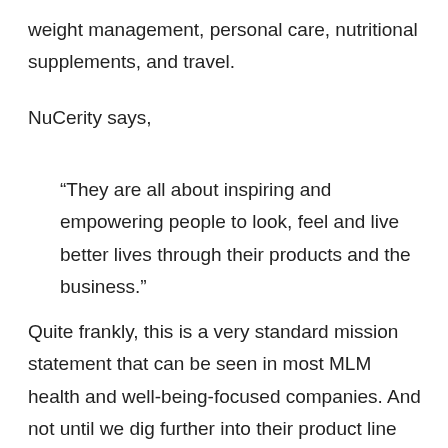weight management, personal care, nutritional supplements, and travel.
NuCerity says,
“They are all about inspiring and empowering people to look, feel and live better lives through their products and the business.”
Quite frankly, this is a very standard mission statement that can be seen in most MLM health and well-being-focused companies. And not until we dig further into their product line and market potential, we wouldn’t really know what that means.